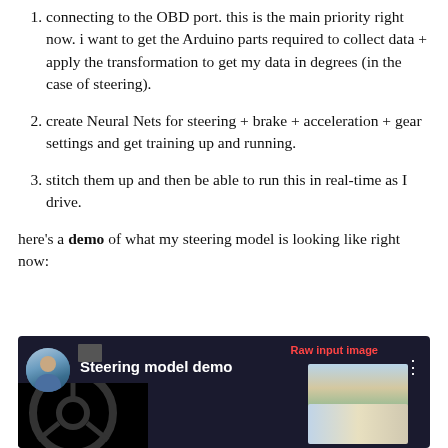connecting to the OBD port. this is the main priority right now. i want to get the Arduino parts required to collect data + apply the transformation to get my data in degrees (in the case of steering).
create Neural Nets for steering + brake + acceleration + gear settings and get training up and running.
stitch them up and then be able to run this in real-time as I drive.
here's a demo of what my steering model is looking like right now:
[Figure (screenshot): Screenshot of a video or demo interface titled 'Steering model demo' with an avatar/profile picture on the left, 'Raw input image' label in red on the right side, a thumbnail of a road scene, a dark area at the bottom left showing a steering wheel, and a three-dot menu icon.]